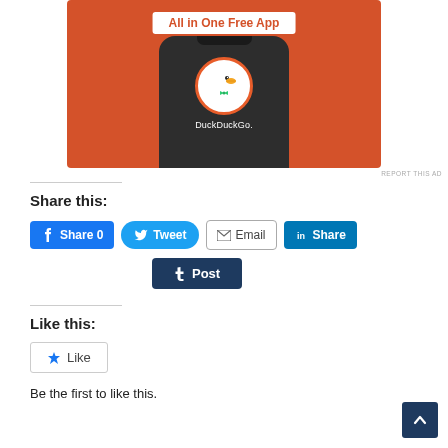[Figure (screenshot): DuckDuckGo app advertisement showing a smartphone with the DuckDuckGo logo and text 'All in One Free App' on an orange background]
REPORT THIS AD
Share this:
Share 0  Tweet  Email  Share  Post
Like this:
Like
Be the first to like this.